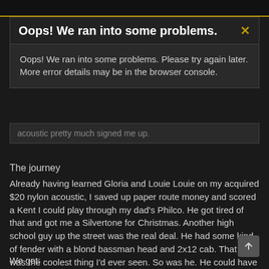Oops! We ran into some problems.
Oops! We ran into some problems. Please try again later. More error details may be in the browser console.
acoustic pretty much signed me up.
The journey
Already having learned Gloria and Louie Louie on my acquired $20 nylon acoustic, I saved up paper route money and scored a Kent I could play through my dad's Philco. He got tired of that and got me a Silvertone for Christmas. Another high school guy up the street was the real deal. He had some kind of fender with a blond bassman head and 2x12 cab. That amp was the coolest thing I'd ever seen. So was he. He could have been a Beach Boys walk on. He didn't hang with the lowly likes of me though. Had to pay for lessons. He taught me Yesterday. Then next door neighbor figured out House of the Rising Sun. Next came The Letter by the Boxtops. So there go.
We got: